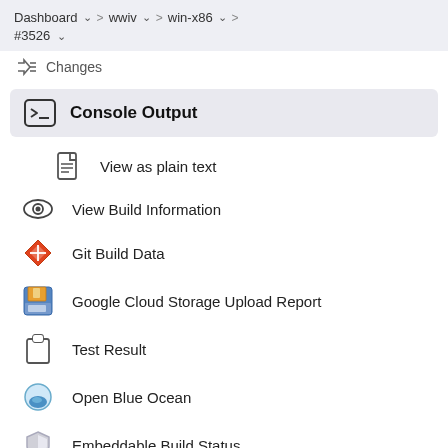Dashboard > wwiv > win-x86 > #3526
Changes
Console Output
View as plain text
View Build Information
Git Build Data
Google Cloud Storage Upload Report
Test Result
Open Blue Ocean
Embeddable Build Status